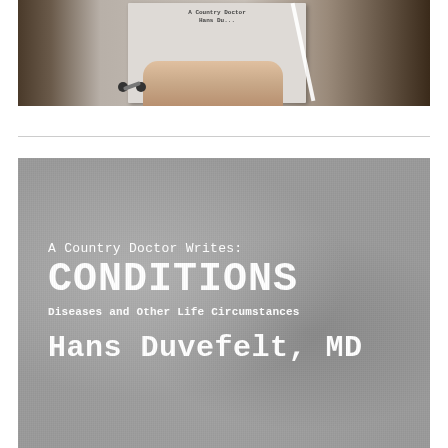[Figure (photo): A person wearing a grey sweater holding a book with a white spine and stethoscope earpieces visible. The book appears to be 'A Country Doctor Writes: CONDITIONS' by Hans Duvefelt, MD.]
[Figure (photo): Close-up of a grey fabric surface (sweater/cover) with white serif text reading: 'A Country Doctor Writes: CONDITIONS Diseases and Other Life Circumstances Hans Duvefelt, MD']